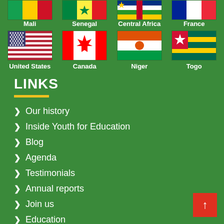[Figure (illustration): Partial row of country flags at top: Mali, Senegal, Central Africa, France]
Mali   Senegal   Central Africa   France
[Figure (illustration): Row of country flags: United States, Canada, Niger, Togo]
United States   Canada   Niger   Togo
LINKS
> Our history
> Inside Youth for Education
> Blog
> Agenda
> Testimonials
> Annual reports
> Join us
> Education